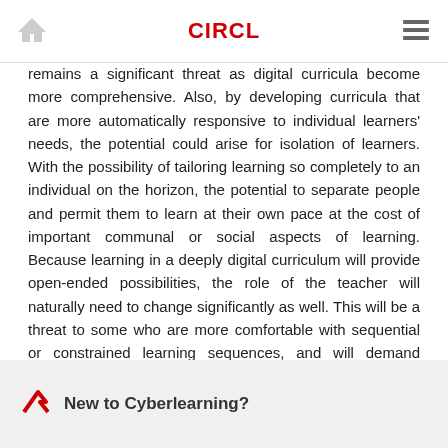CIRCL
remains a significant threat as digital curricula become more comprehensive. Also, by developing curricula that are more automatically responsive to individual learners' needs, the potential could arise for isolation of learners. With the possibility of tailoring learning so completely to an individual on the horizon, the potential to separate people and permit them to learn at their own pace at the cost of important communal or social aspects of learning. Because learning in a deeply digital curriculum will provide open-ended possibilities, the role of the teacher will naturally need to change significantly as well. This will be a threat to some who are more comfortable with sequential or constrained learning sequences, and will demand significant new skills on the part of teachers.
New to Cyberlearning?